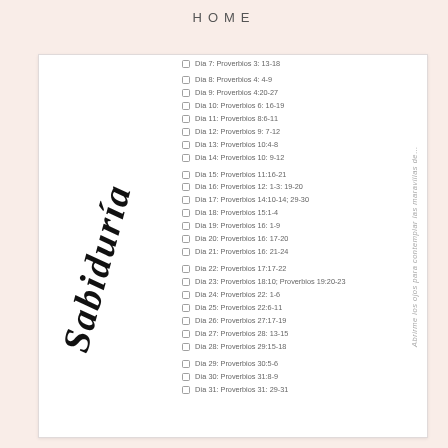HOME
[Figure (illustration): Handwritten script text reading 'Sabiduría' (Wisdom) in cursive style, used as decorative watermark/logo on the left side of the card]
Día 7: Proverbios 3: 13-18
Día 8: Proverbios 4: 4-9
Día 9: Proverbios 4:20-27
Día 10: Proverbios 6: 16-19
Día 11: Proverbios 8:6-11
Día 12: Proverbios 9: 7-12
Día 13: Proverbios 10:4-8
Día 14: Proverbios 10: 9-12
Día 15: Proverbios 11:16-21
Día 16: Proverbios 12: 1-3: 19-20
Día 17: Proverbios 14:10-14; 29-30
Día 18: Proverbios 15:1-4
Día 19: Proverbios 16: 1-9
Día 20: Proverbios 16: 17-20
Día 21: Proverbios 16: 21-24
Día 22: Proverbios 17:17-22
Día 23: Proverbios 18:10; Proverbios 19:20-23
Día 24: Proverbios 22: 1-6
Día 25: Proverbios 22:6-11
Día 26: Proverbios 27:17-19
Día 27: Proverbios 28: 13-15
Día 28: Proverbios 29:15-18
Día 29: Proverbios 30:5-6
Día 30: Proverbios 31:8-9
Día 31: Proverbios 31: 29-31
Abrirme los ojos para contemplar las maravillas de…